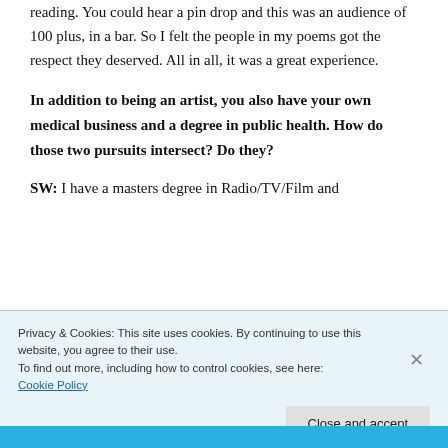reading. You could hear a pin drop and this was an audience of 100 plus, in a bar. So I felt the people in my poems got the respect they deserved. All in all, it was a great experience.
In addition to being an artist, you also have your own medical business and a degree in public health. How do those two pursuits intersect? Do they?
SW: I have a masters degree in Radio/TV/Film and
Privacy & Cookies: This site uses cookies. By continuing to use this website, you agree to their use.
To find out more, including how to control cookies, see here:
Cookie Policy
Close and accept